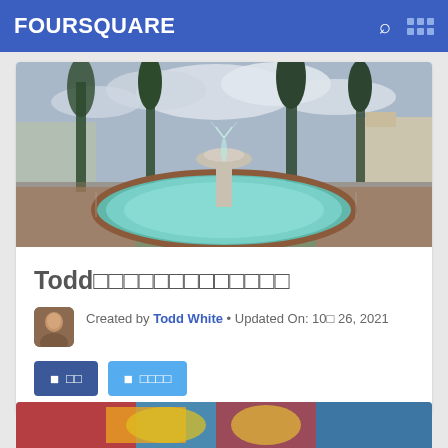FOURSQUARE
[Figure (photo): Wide-angle panoramic photo of a public plaza fountain with teal/turquoise water, brick border, trees, buildings and cloudy sky in the background]
Todd□□□□□□□□□□□□□
Created by Todd White • Updated On: 10□ 26, 2021
□ □□   □ □□□□
[Figure (photo): Bottom strip showing partial colorful image (red/yellow tones)]